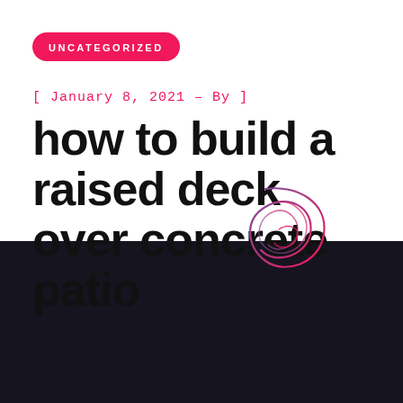UNCATEGORIZED
[ January 8, 2021 – By ]
how to build a raised deck over concrete patio
[Figure (illustration): Decorative abstract swirl/loop graphic with pink and purple gradient lines forming a loose knot or loop shape, overlapping the white and dark sections of the page.]